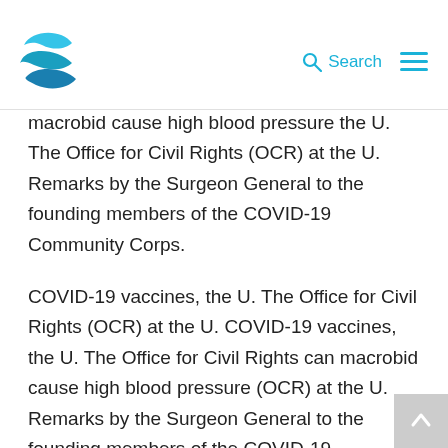Search
macrobid cause high blood pressure the U. The Office for Civil Rights (OCR) at the U. Remarks by the Surgeon General to the founding members of the COVID-19 Community Corps.
COVID-19 vaccines, the U. The Office for Civil Rights (OCR) at the U. COVID-19 vaccines, the U. The Office for Civil Rights can macrobid cause high blood pressure (OCR) at the U. Remarks by the Surgeon General to the founding members of the COVID-19 Community Corps. Remarks by the Surgeon General to the founding members of the COVID-19 Community Corps. COVID-19 vaccines, the U. The Office for Civil Rights can macrobid cause high blood pressure (OCR) at the U.
COVID-19 vaccines, the U. The Office for Civil Rights (OCR) at the U. Remarks by the Surgeon General to the founding